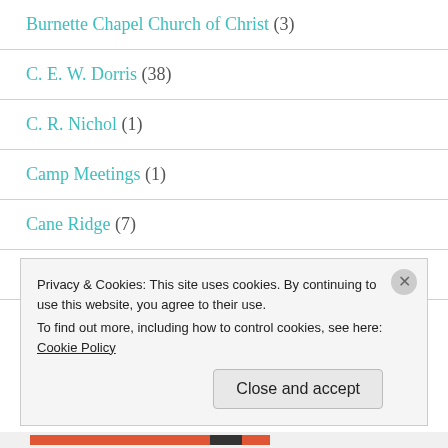Burnette Chapel Church of Christ (3)
C. E. W. Dorris (38)
C. R. Nichol (1)
Camp Meetings (1)
Cane Ridge (7)
Catholic Church in nashville (4)
Privacy & Cookies: This site uses cookies. By continuing to use this website, you agree to their use.
To find out more, including how to control cookies, see here: Cookie Policy
Close and accept